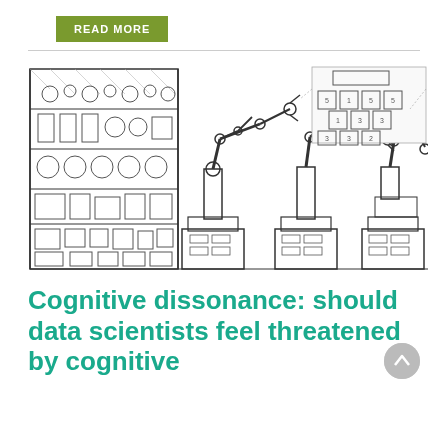READ MORE
[Figure (illustration): Line drawing of three industrial robotic arms on wheeled pedestals, operating in front of a storage shelving unit filled with various industrial parts and equipment. A small inset diagram in the upper right shows a grid/floor plan layout with numbered squares.]
Cognitive dissonance: should data scientists feel threatened by cognitive